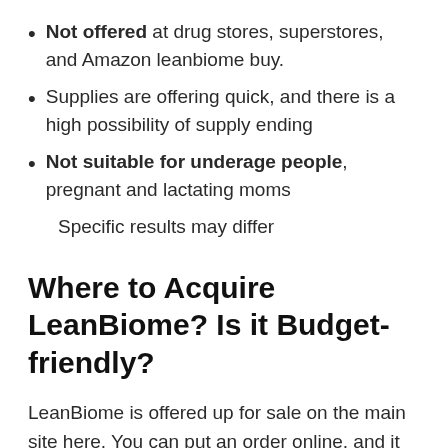Not offered at drug stores, superstores, and Amazon leanbiome buy.
Supplies are offering quick, and there is a high possibility of supply ending
Not suitable for underage people, pregnant and lactating moms
Specific results may differ
Where to Acquire LeanBiome? Is it Budget-friendly?
LeanBiome is offered up for sale on the main site here. You can put an order online, and it will certainly be delivered to your doorstep within 3 to 5 days. Buying from the official website saves you from online fraud as well as provides you an